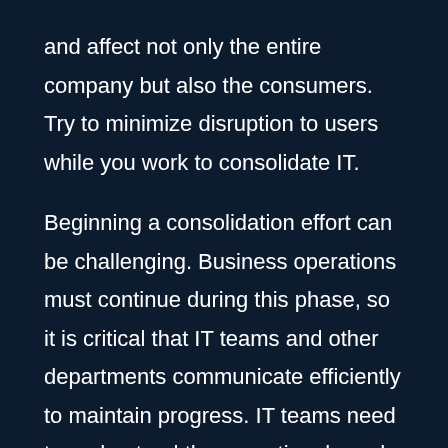and affect not only the entire company but also the consumers. Try to minimize disruption to users while you work to consolidate IT. Beginning a consolidation effort can be challenging. Business operations must continue during this phase, so it is critical that IT teams and other departments communicate efficiently to maintain progress. IT teams need to understand the operational needs of each business unit, while departments on the other hand need to be aware of the benefits of consolidation, e.g. B. The guarantee that the service will be improved. The CIO can add value by identifying the impact that IT consolidation will have on your organization by being